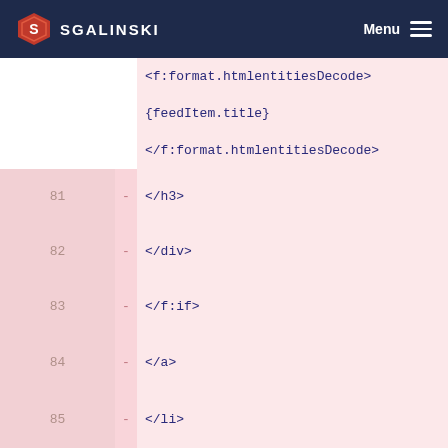SGALINSKI — Menu
<f:format.htmlentitiesDecode>
{feedItem.title}
</f:format.htmlentitiesDecode>
81  -  </h3>
82  -  </div>
83  -  </f:if>
84  -  </a>
85  -  </li>